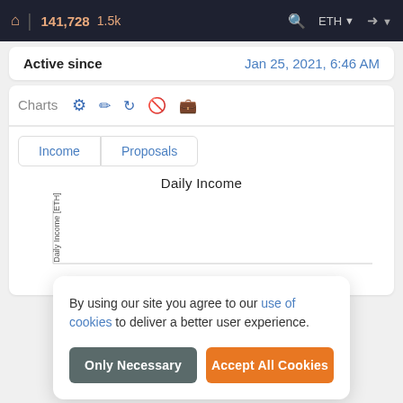141,728  1.5k  ETH
| Active since |  |
| --- | --- |
| Active since | Jan 25, 2021, 6:46 AM |
Charts
Income  Proposals
Daily Income
[Figure (other): Daily Income chart area with y-axis label 'Daily Income [ETH]' - chart content obscured by cookie consent overlay]
By using our site you agree to our use of cookies to deliver a better user experience.
Only Necessary  Accept All Cookies